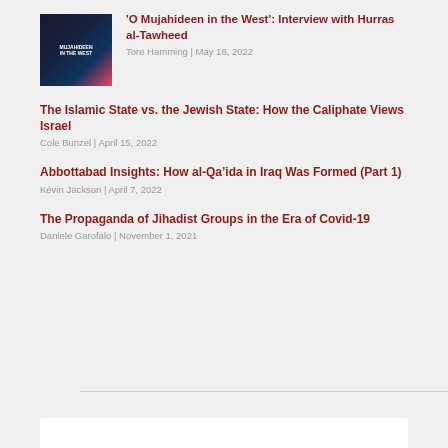[Figure (photo): Book cover for 'Mujahideen in the West' with dark background and light rays]
'O Mujahideen in the West': Interview with Hurras al-Tawheed
Tore Hamming | May 18, 2022
The Islamic State vs. the Jewish State: How the Caliphate Views Israel
Cole Bunzel | April 15, 2022
Abbottabad Insights: How al-Qa'ida in Iraq Was Formed (Part 1)
Kévin Jackson | April 7, 2022
The Propaganda of Jihadist Groups in the Era of Covid-19
Daniele Garofalo | November 1, 2021